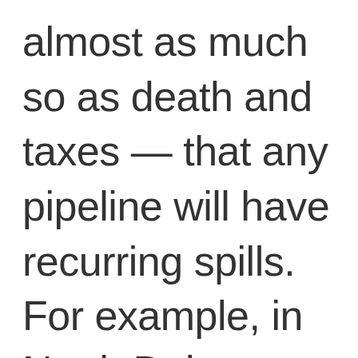almost as much so as death and taxes — that any pipeline will have recurring spills. For example, in North Dakota a